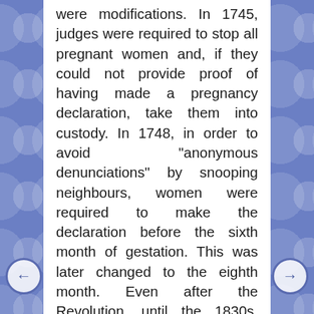were modifications. In 1745, judges were required to stop all pregnant women and, if they could not provide proof of having made a pregnancy declaration, take them into custody. In 1748, in order to avoid "anonymous denunciations" by snooping neighbours, women were required to make the declaration before the sixth month of gestation. This was later changed to the eighth month. Even after the Revolution, until the 1830s, pregnancy declarations in some form were required of some women. Thus, in each commune and each city quartier, when a dead baby was discovered, prosecutors had a ready list of suspects. Infanticide, from the first law of 1556 through the penal code of 1791, was considered first degree murder, punishable by